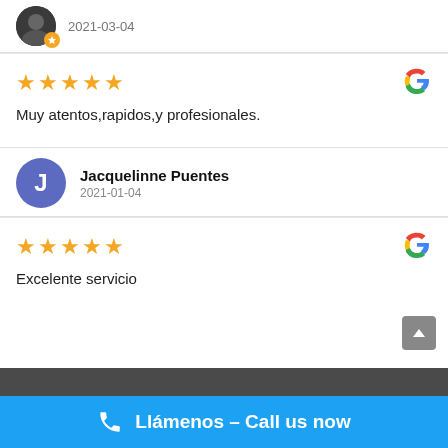[Figure (other): Partially cropped user avatar with orange badge icon and date 2021-03-04]
2021-03-04
★★★★★
Muy atentos,rapidos,y profesionales.
[Figure (logo): Google G logo]
[Figure (other): Purple avatar circle with letter J for Jacquelinne Puentes]
Jacquelinne Puentes
2021-01-04
★★★★★
Excelente servicio
[Figure (logo): Google G logo]
Llámenos – Call us now